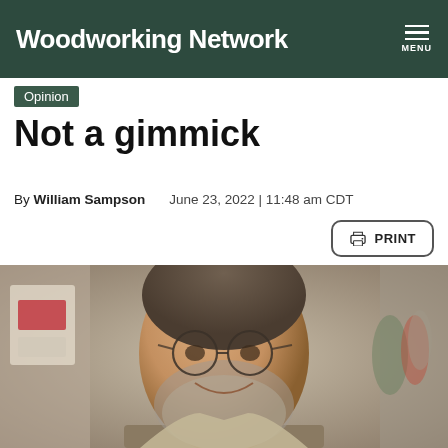Woodworking Network
Opinion
Not a gimmick
By William Sampson   June 23, 2022 | 11:48 am CDT
[Figure (photo): Portrait photo of William Sampson, a bearded man with glasses, smiling at what appears to be a woodworking trade show or exhibition floor.]